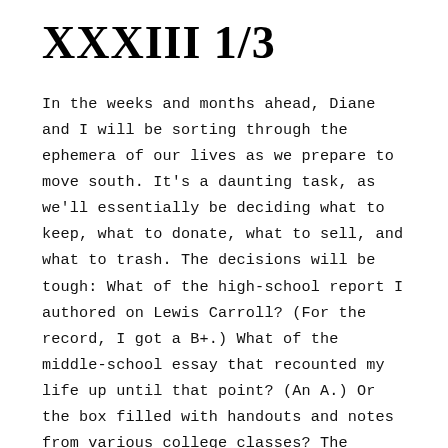XXXIII 1/3
In the weeks and months ahead, Diane and I will be sorting through the ephemera of our lives as we prepare to move south. It's a daunting task, as we'll essentially be deciding what to keep, what to donate, what to sell, and what to trash. The decisions will be tough: What of the high-school report I authored on Lewis Carroll? (For the record, I got a B+.) What of the middle-school essay that recounted my life up until that point? (An A.) Or the box filled with handouts and notes from various college classes? The boxed-up books in the attic? The old magazines that clutter the den? Our DVDs? CDs? LPs? And what of the many framed and unframed posters and prints currently collecting dust?
Some of those questions are easier to answer than